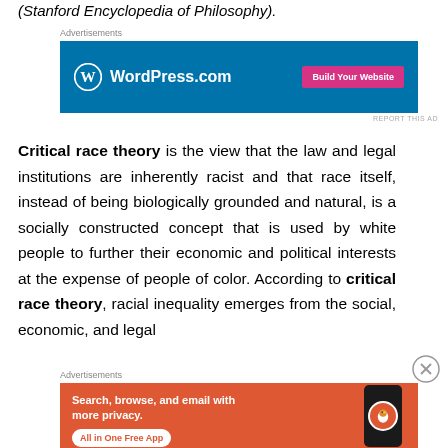(Stanford Encyclopedia of Philosophy).
[Figure (screenshot): WordPress.com advertisement banner with blue background, WordPress logo, and pink 'Build Your Website' button]
Critical race theory is the view that the law and legal institutions are inherently racist and that race itself, instead of being biologically grounded and natural, is a socially constructed concept that is used by white people to further their economic and political interests at the expense of people of color. According to critical race theory, racial inequality emerges from the social, economic, and legal
[Figure (screenshot): DuckDuckGo advertisement with orange background showing 'Search, browse, and email with more privacy. All in One Free App' with phone mockup and DuckDuckGo logo]